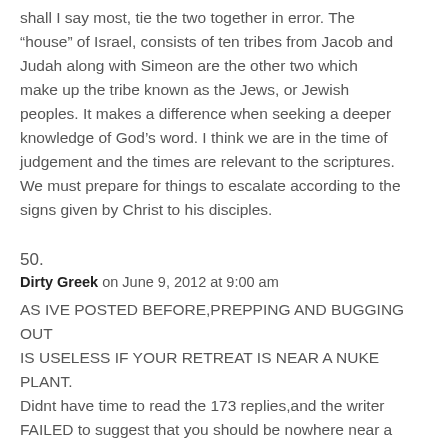shall I say most, tie the two together in error. The “house” of Israel, consists of ten tribes from Jacob and Judah along with Simeon are the other two which make up the tribe known as the Jews, or Jewish peoples. It makes a difference when seeking a deeper knowledge of God’s word. I think we are in the time of judgement and the times are relevant to the scriptures. We must prepare for things to escalate according to the signs given by Christ to his disciples.
50.
Dirty Greek on June 9, 2012 at 9:00 am
AS IVE POSTED BEFORE,PREPPING AND BUGGING OUT IS USELESS IF YOUR RETREAT IS NEAR A NUKE PLANT. Didnt have time to read the 173 replies,and the writer FAILED to suggest that you should be nowhere near a nuke plant or a storage facility in a SHTF scenario. Sigh…i have the sudden urge to berate,grrr!!!!!!!!!!!!!!